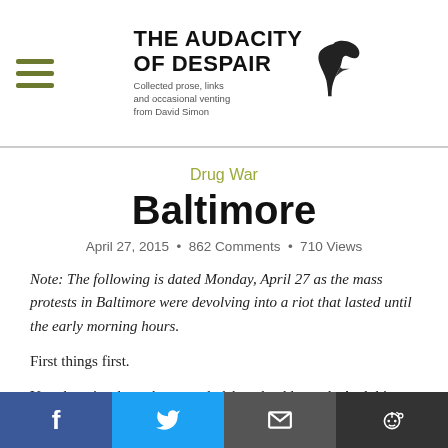THE AUDACITY OF DESPAIR — Collected prose, links and occasional venting from David Simon
Drug War
Baltimore
April 27, 2015 • 862 Comments • 710 Views
Note: The following is dated Monday, April 27 as the mass protests in Baltimore were devolving into a riot that lasted until the early morning hours.
First things first.
Yes, there is a lot to be argued, debated, addressed.  And this moment, as inevitable as it has sometimes seemed,
Facebook  Twitter  Email  Reddit